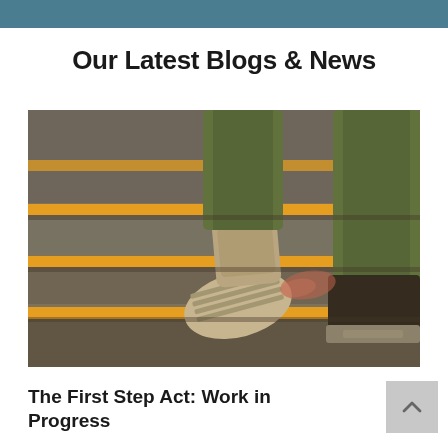Our Latest Blogs & News
[Figure (photo): A person climbing concrete stairs with yellow edge stripes, seen from behind at foot level, wearing green pants and dark sneakers, with one shoe lifted off a step.]
The First Step Act: Work in Progress